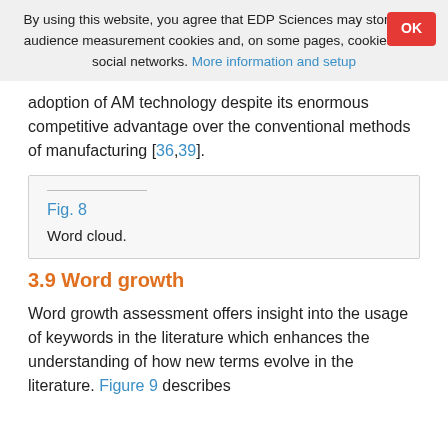By using this website, you agree that EDP Sciences may store web audience measurement cookies and, on some pages, cookies from social networks. More information and setup
adoption of AM technology despite its enormous competitive advantage over the conventional methods of manufacturing [36,39].
Fig. 8
Word cloud.
3.9 Word growth
Word growth assessment offers insight into the usage of keywords in the literature which enhances the understanding of how new terms evolve in the literature. Figure 9 describes